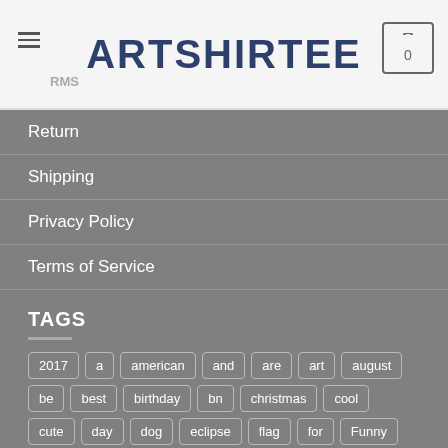ARTSHIRTEE
Return
Shipping
Privacy Policy
Terms of Service
TAGS
2017, a, american, and, are, art, august, be, best, birthday, bn, christmas, cool, cute, day, dog, eclipse, flag, for, Funny, gift, gifts, girl, grade, is, july, just, life, love, me, Men, mens, mom, my, new, school, solar, tee, terrier, the, to, trump, with, womens, you